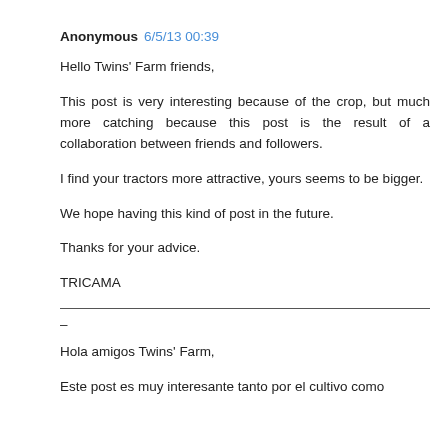Anonymous 6/5/13 00:39
Hello Twins' Farm friends,
This post is very interesting because of the crop, but much more catching because this post is the result of a collaboration between friends and followers.
I find your tractors more attractive, yours seems to be bigger.
We hope having this kind of post in the future.
Thanks for your advice.
TRICAMA
–
Hola amigos Twins' Farm,
Este post es muy interesante tanto por el cultivo como